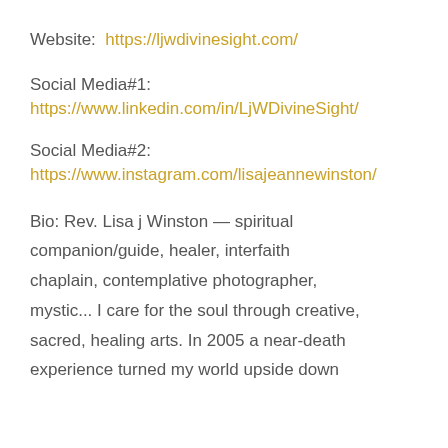Website:  https://ljwdivinesight.com/
Social Media#1:
https://www.linkedin.com/in/LjWDivineSight/
Social Media#2:
https://www.instagram.com/lisajeannewinston/
Bio: Rev. Lisa j Winston — spiritual companion/guide, healer, interfaith chaplain, contemplative photographer, mystic... I care for the soul through creative, sacred, healing arts. In 2005 a near-death experience turned my world upside down